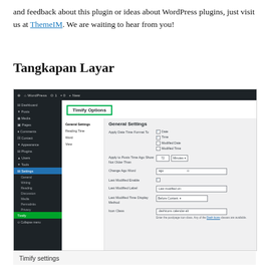and feedback about this plugin or ideas about WordPress plugins, just visit us at ThemeIM. We are waiting to hear from you!
Tangkapan Layar
[Figure (screenshot): Screenshot of the WordPress admin panel showing the Timify plugin settings page with General Settings options including Apply Date Time Format To checkboxes (Date, Time, Modified Date, Modified Time), Apply to Posts Time Ago Show Not Older Than field set to 72 Minutes, Change Ago Word field with 'ago', Last Modified Enable checkbox, Last Modified Label field with 'Last modified on:', Last Modified Time Display Method dropdown set to 'Before Content', and Icon Class field with 'dashicons calendar-alt'. The left sidebar shows WordPress navigation with Settings > Timify highlighted in green.]
Timify settings